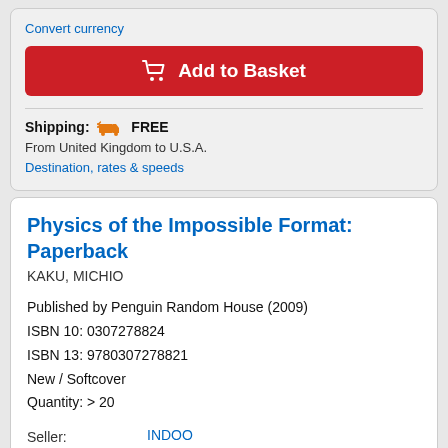Convert currency
Add to Basket
Shipping: FREE
From United Kingdom to U.S.A.
Destination, rates & speeds
Physics of the Impossible Format: Paperback
KAKU, MICHIO
Published by Penguin Random House (2009)
ISBN 10: 0307278824
ISBN 13: 9780307278821
New / Softcover
Quantity: > 20
Seller: INDOO (Avenel, NJ, U.S.A.)
Rating: Seller Rating: ★★★★★